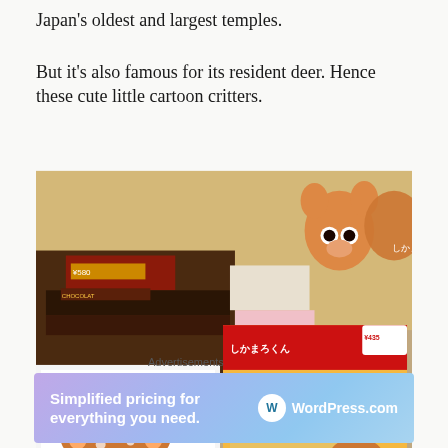Japan's oldest and largest temples.
But it's also famous for its resident deer. Hence these cute little cartoon critters.
[Figure (photo): Photo of a Japanese souvenir shop display showing cartoon deer merchandise — boxes with cute cartoon deer faces and a bag of 'Mayonnaise and curry rice crackers' featuring the Shikamaro-kun deer character. Price tags visible including ¥580 and ¥435.]
Advertisements
[Figure (infographic): WordPress.com advertisement banner with gradient purple-blue background showing text 'Simplified pricing for everything you need.' with WordPress.com logo on the right.]